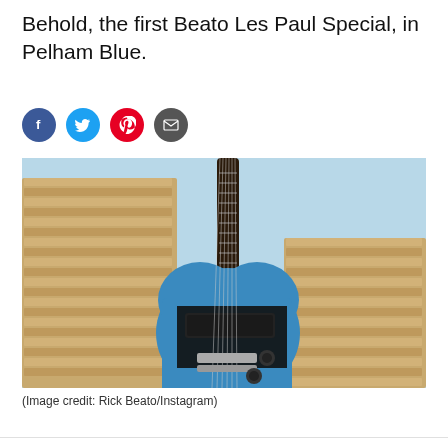Behold, the first Beato Les Paul Special, in Pelham Blue.
[Figure (photo): A Pelham Blue Beato Les Paul Special electric guitar displayed in a guitar factory surrounded by stacks of unfinished wooden guitar bodies]
(Image credit: Rick Beato/Instagram)